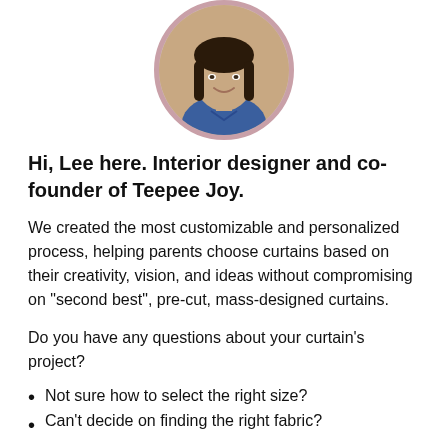[Figure (photo): Circular portrait photo of Lee, a woman with long dark hair wearing a blue denim shirt, smiling. The photo has a rounded pink/mauve border.]
Hi, Lee here. Interior designer and co-founder of Teepee Joy.
We created the most customizable and personalized process, helping parents choose curtains based on their creativity, vision, and ideas without compromising on "second best", pre-cut, mass-designed curtains.
Do you have any questions about your curtain's project?
Not sure how to select the right size?
Can't decide on finding the right fabric?